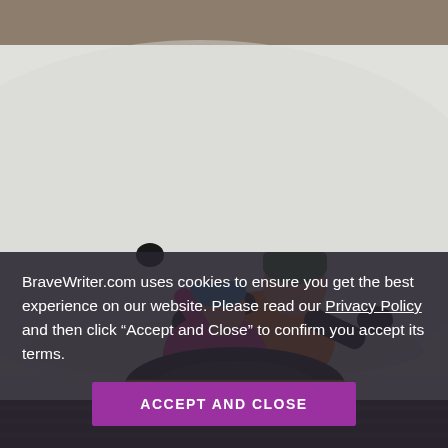[Figure (photo): Two people sledding down a snowy hill. A child in a pink jacket with a blue hat has one arm raised joyfully. An adult behind them wears an orange jacket and a green hat. They are on a black inner tube sled. Snowy slope and bare winter trees in background.]
BraveWriter.com uses cookies to ensure you get the best experience on our website. Please read our Privacy Policy and then click “Accept and Close” to confirm you accept its terms.
ACCEPT AND CLOSE